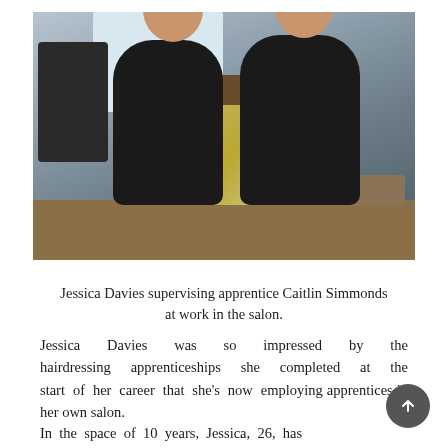[Figure (photo): Two women in a hair salon: Jessica Davies (right, wearing grey apron over black top) supervising apprentice Caitlin Simmonds (left, in black uniform) who is applying hair colour/foil treatment to a seated client. Salon interior with furniture and window visible in background.]
Jessica Davies supervising apprentice Caitlin Simmonds at work in the salon.
Jessica Davies was so impressed by the hairdressing apprenticeships she completed at the start of her career that she's now employing apprentices in her own salon.
In the space of 10 years, Jessica, 26, has